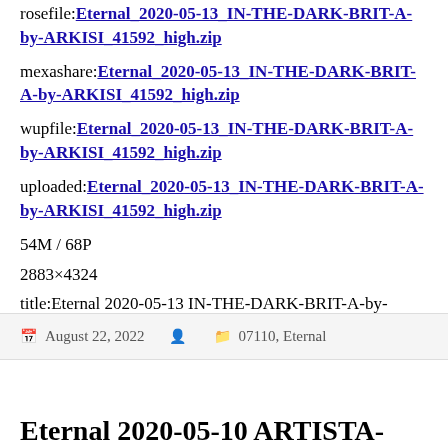rosefile:Eternal_2020-05-13_IN-THE-DARK-BRIT-A-by-ARKISI_41592_high.zip
mexashare:Eternal_2020-05-13_IN-THE-DARK-BRIT-A-by-ARKISI_41592_high.zip
wupfile:Eternal_2020-05-13_IN-THE-DARK-BRIT-A-by-ARKISI_41592_high.zip
uploaded:Eternal_2020-05-13_IN-THE-DARK-BRIT-A-by-ARKISI_41592_high.zip
54M / 68P
2883×4324
title:Eternal 2020-05-13 IN-THE-DARK-BRIT-A-by-ARKISI 41592 high
August 22, 2022   07110, Eternal
Eternal 2020-05-10 ARTISTA-